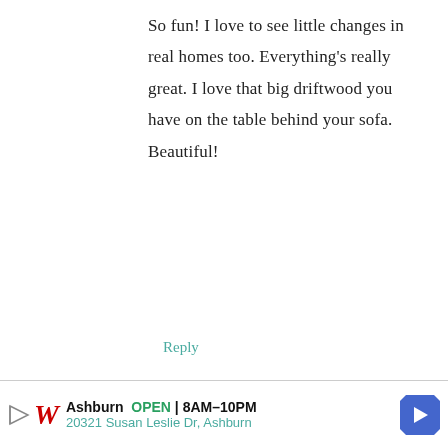So fun! I love to see little changes in real homes too. Everything's really great. I love that big driftwood you have on the table behind your sofa. Beautiful!
Reply
Carla says
August 28, 2012 at 10:02 pm
[Figure (other): Walgreens advertisement banner: Ashburn OPEN 8AM-10PM, 20321 Susan Leslie Dr, Ashburn, with Walgreens logo and navigation arrow icon]